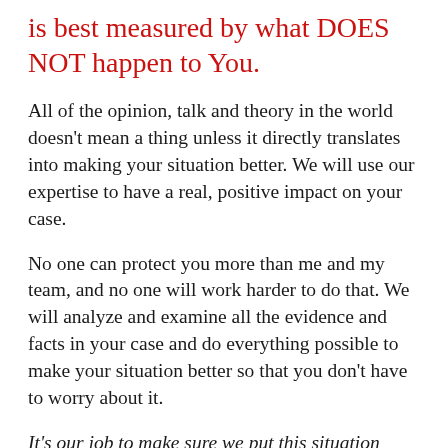is best measured by what DOES NOT happen to You.
All of the opinion, talk and theory in the world doesn't mean a thing unless it directly translates into making your situation better. We will use our expertise to have a real, positive impact on your case.
No one can protect you more than me and my team, and no one will work harder to do that. We will analyze and examine all the evidence and facts in your case and do everything possible to make your situation better so that you don't have to worry about it.
It's our job to make sure we put this situation